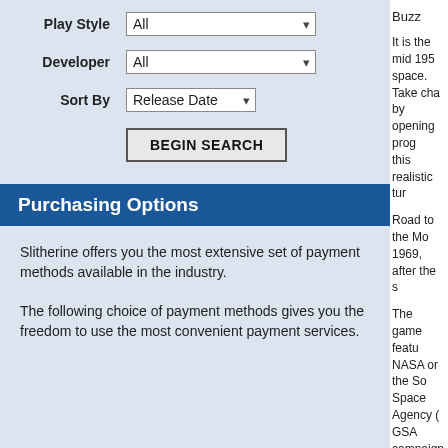Play Style  All
Developer  All
Sort By  Release Date
BEGIN SEARCH
Purchasing Options
Slitherine offers you the most extensive set of payment methods available in the industry.
The following choice of payment methods gives you the freedom to use the most convenient payment services.
Buzz
It is the mid 195… space. Take cha… by opening prog… this realistic tur…
Road to the Mo… 1969, after the s…
The game featu… NASA or the So… Space Agency … GSA campaign,… those players w… agencies featur… approaches wit…